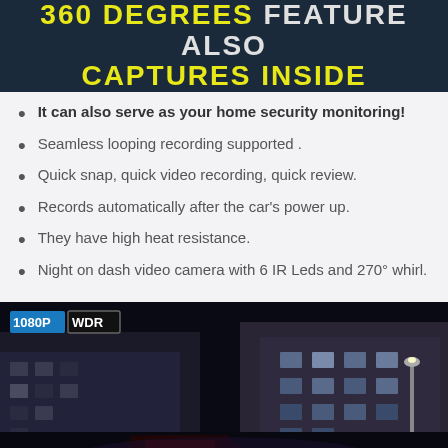[Figure (photo): Dark banner image showing text '360 DEGREES FEATURE ALSO CAPTURES INSIDE' with yellow and white bold text on dark background]
It can also serve as your home security monitoring!
Seamless looping recording supported .
Quick snap, quick video recording, quick review.
Records automatically after the car's power up.
They have high heat resistance.
Night on dash video camera with 6 IR Leds and 270° whirl.
[Figure (photo): Night time city street photo showing illuminated classical buildings, with '1080P WDR' badge overlay in top left corner]